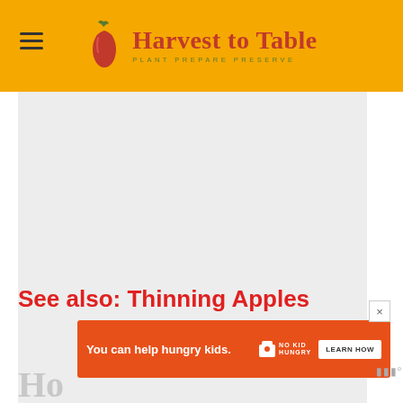Harvest to Table — PLANT PREPARE PRESERVE
[Figure (other): Gray placeholder/advertisement area]
See also: Thinning Apples
[Figure (other): Ad banner: You can help hungry kids. No Kid Hungry. LEARN HOW]
Ho